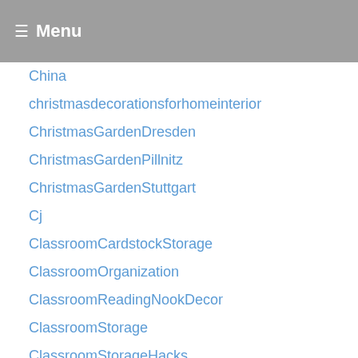Menu
China
christmasdecorationsforhomeinterior
ChristmasGardenDresden
ChristmasGardenPillnitz
ChristmasGardenStuttgart
Cj
ClassroomCardstockStorage
ClassroomOrganization
ClassroomReadingNookDecor
ClassroomStorage
ClassroomStorageHacks
Cleaning
CleaningEssentials
ClockHacks
ClosedOrganizationTeams
closet
ClosetAccessories